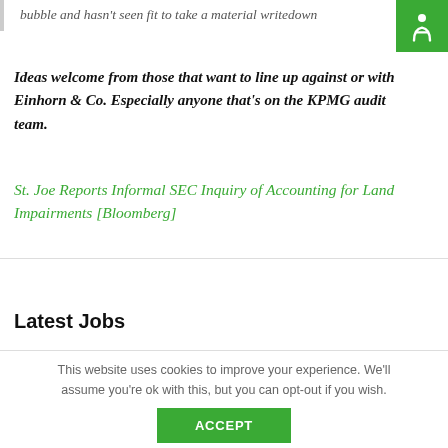bubble and hasn't seen fit to take a material writedown
[Figure (logo): Green circular logo with white person/accessibility icon]
Ideas welcome from those that want to line up against or with Einhorn & Co. Especially anyone that's on the KPMG audit team.
St. Joe Reports Informal SEC Inquiry of Accounting for Land Impairments [Bloomberg]
Latest Jobs
This website uses cookies to improve your experience. We'll assume you're ok with this, but you can opt-out if you wish.